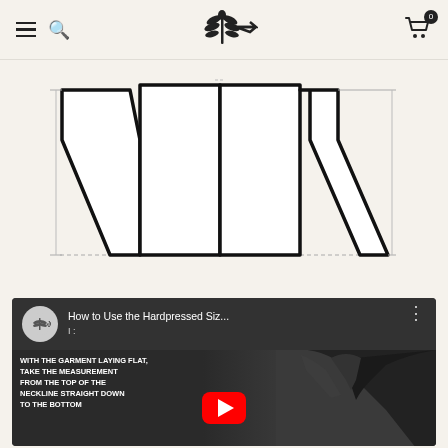Navigation header with hamburger menu, search icon, Hardpressed wheat logo, and cart with 0 items
[Figure (illustration): Technical garment flat-lay diagram showing front panels of a jacket with measurement lines and dashed borders, on a cream/off-white background]
[Figure (screenshot): YouTube video thumbnail titled 'How to Use the Hardpressed Siz...' with text: WITH THE GARMENT LAYING FLAT, TAKE THE MEASUREMENT FROM THE TOP OF THE NECKLINE STRAIGHT DOWN TO THE BOTTOM. Shows a dark jacket on the right side and a red YouTube play button.]